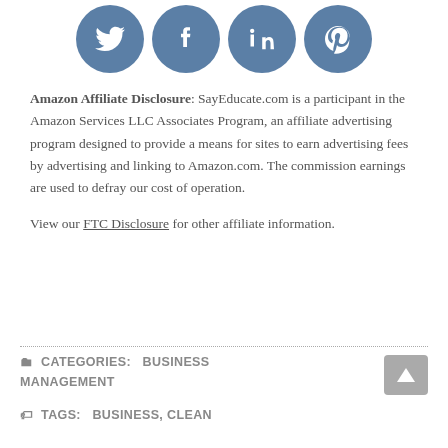[Figure (illustration): Four circular social media icons in steel blue: Twitter (bird), Facebook (f), LinkedIn (in), Pinterest (p)]
Amazon Affiliate Disclosure: SayEducate.com is a participant in the Amazon Services LLC Associates Program, an affiliate advertising program designed to provide a means for sites to earn advertising fees by advertising and linking to Amazon.com. The commission earnings are used to defray our cost of operation.
View our FTC Disclosure for other affiliate information.
CATEGORIES: BUSINESS MANAGEMENT
TAGS: BUSINESS, CLEAN